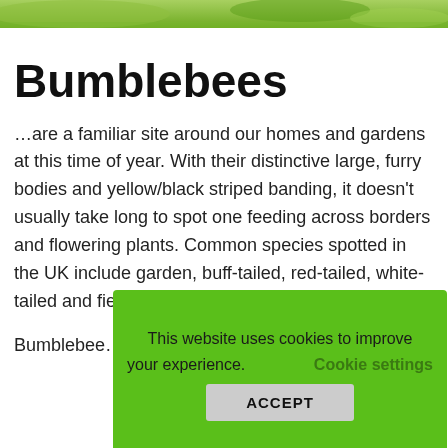[Figure (photo): Close-up photo of a bumblebee on purple/blue flowers, shown as a narrow strip at the top of the page]
Bumblebees
…are a familiar site around our homes and gardens at this time of year. With their distinctive large, furry bodies and yellow/black striped banding, it doesn't usually take long to spot one feeding across borders and flowering plants. Common species spotted in the UK include garden, buff-tailed, red-tailed, white-tailed and field bumblebee…
Bumblebee… colonies of… hibernate u…
This website uses cookies to improve your experience.   Cookie settings   ACCEPT